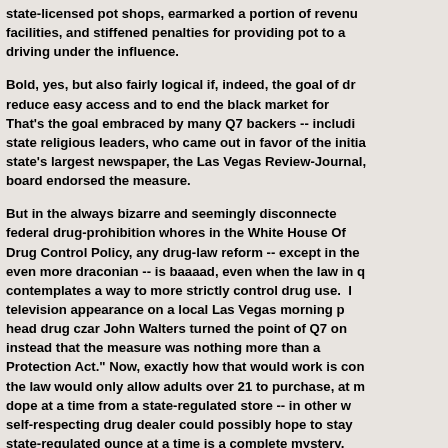state-licensed pot shops, earmarked a portion of revenue for facilities, and stiffened penalties for providing pot to a driving under the influence.
Bold, yes, but also fairly logical if, indeed, the goal of dr reduce easy access and to end the black market for That's the goal embraced by many Q7 backers -- includi state religious leaders, who came out in favor of the initia state's largest newspaper, the Las Vegas Review-Journal, board endorsed the measure.
But in the always bizarre and seemingly disconnecte federal drug-prohibition whores in the White House Of Drug Control Policy, any drug-law reform -- except in the even more draconian -- is baaaad, even when the law in q contemplates a way to more strictly control drug use. I television appearance on a local Las Vegas morning p head drug czar John Walters turned the point of Q7 on instead that the measure was nothing more than a Protection Act." Now, exactly how that would work is con the law would only allow adults over 21 to purchase, at m dope at a time from a state-regulated store -- in other w self-respecting drug dealer could possibly hope to stay state-regulated ounce at a time is a complete mystery, buyers could mosey their own butts down to the pot s